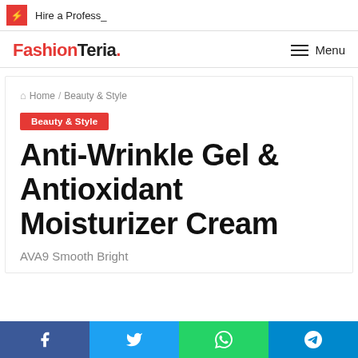⚡ Hire a Profess_
FashionTeria. Menu
🏠 Home / Beauty & Style
Beauty & Style
Anti-Wrinkle Gel & Antioxidant Moisturizer Cream
AVA9 Smooth Bright